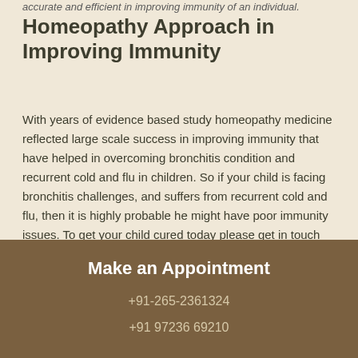accurate and efficient in improving immunity of an individual.
Homeopathy Approach in Improving Immunity
With years of evidence based study homeopathy medicine reflected large scale success in improving immunity that have helped in overcoming bronchitis condition and recurrent cold and flu in children. So if your child is facing bronchitis challenges, and suffers from recurrent cold and flu, then it is highly probable he might have poor immunity issues. To get your child cured today please get in touch with us at Cosmic Homeo Healing Centre. Our homeopathy treatment for immunity improvement will definitely help your child get cured in no time.
Make an Appointment
+91-265-2361324
+91 97236 69210